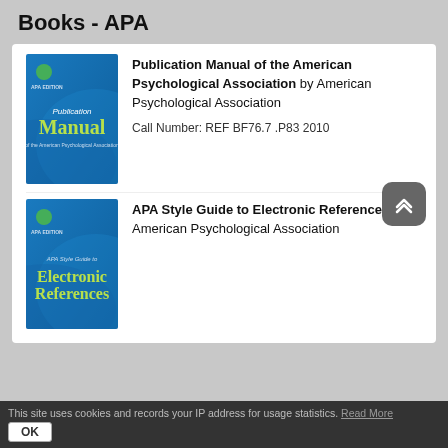Books - APA
[Figure (illustration): Book cover: Publication Manual of the American Psychological Association - blue cover with green 'Manual' text]
Publication Manual of the American Psychological Association by American Psychological Association
Call Number: REF BF76.7 .P83 2010
[Figure (illustration): Book cover: APA Style Guide to Electronic References - blue cover with green 'Electronic References' text]
APA Style Guide to Electronic References by American Psychological Association
This site uses cookies and records your IP address for usage statistics. Read More